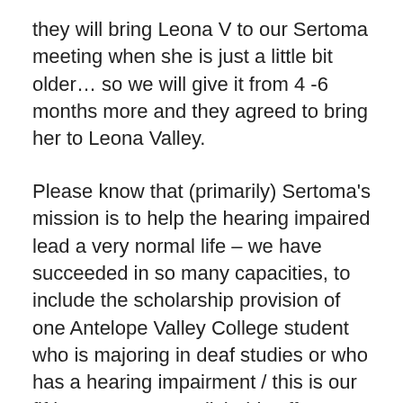they will bring Leona V to our Sertoma meeting when she is just a little bit older… so we will give it from 4 -6 months more and they agreed to bring her to Leona Valley.
Please know that (primarily) Sertoma's mission is to help the hearing impaired lead a very normal life – we have succeeded in so many capacities, to include the scholarship provision of one Antelope Valley College student who is majoring in deaf studies or who has a hearing impairment / this is our fifth year to accomplish this effort.
You are invited to check our web site at: Leonavalleysertoma.org to read ALL of our